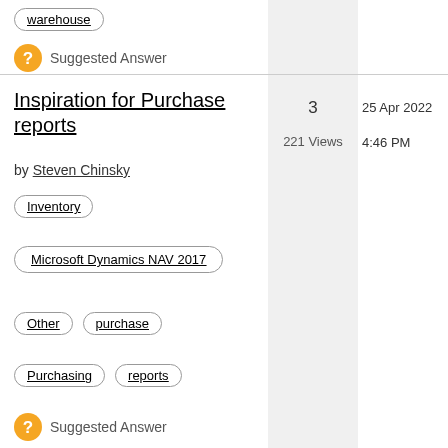warehouse
Suggested Answer
Inspiration for Purchase reports
by Steven Chinsky
3
221 Views
25 Apr 2022
4:46 PM
Inventory
Microsoft Dynamics NAV 2017
Other
purchase
Purchasing
reports
Suggested Answer